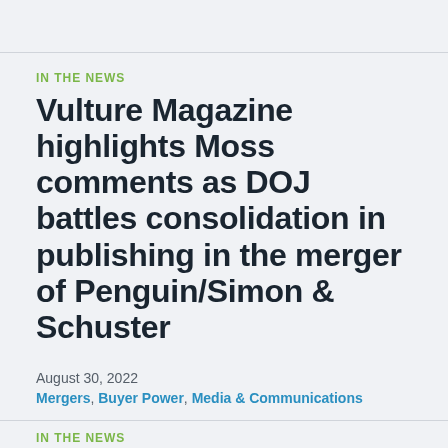IN THE NEWS
Vulture Magazine highlights Moss comments as DOJ battles consolidation in publishing in the merger of Penguin/Simon & Schuster
August 30, 2022
Mergers, Buyer Power, Media & Communications
IN THE NEWS